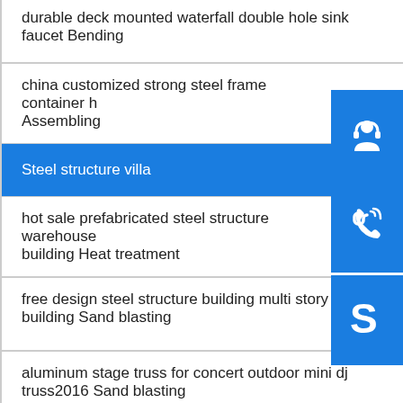durable deck mounted waterfall double hole sink faucet Bending
china customized strong steel frame container h Assembling
Steel structure villa
hot sale prefabricated steel structure warehouse building Heat treatment
free design steel structure building multi story building Sand blasting
aluminum stage truss for concert outdoor mini dj truss2016 Sand blasting